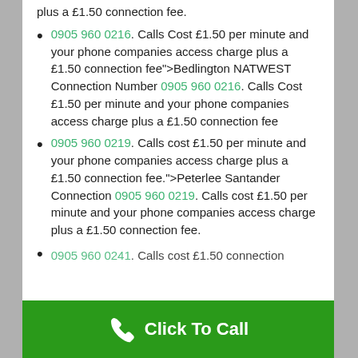plus a £1.50 connection fee.
0905 960 0216. Calls Cost £1.50 per minute and your phone companies access charge plus a £1.50 connection fee">Bedlington NATWEST Connection Number 0905 960 0216. Calls Cost £1.50 per minute and your phone companies access charge plus a £1.50 connection fee
0905 960 0219. Calls cost £1.50 per minute and your phone companies access charge plus a £1.50 connection fee.">Peterlee Santander Connection 0905 960 0219. Calls cost £1.50 per minute and your phone companies access charge plus a £1.50 connection fee.
0905 960 0241. Calls cost £1.50 connection...
Click To Call